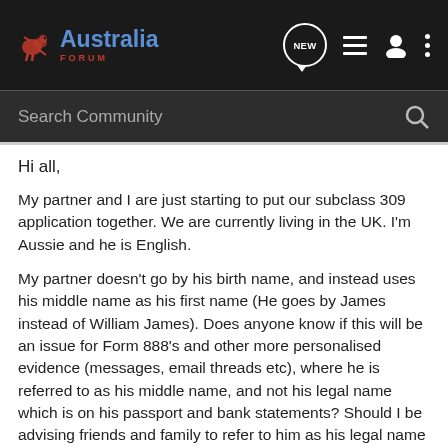Australia Forum — Search Community header
Hi all,
My partner and I are just starting to put our subclass 309 application together. We are currently living in the UK. I'm Aussie and he is English.
My partner doesn't go by his birth name, and instead uses his middle name as his first name (He goes by James instead of William James). Does anyone know if this will be an issue for Form 888's and other more personalised evidence (messages, email threads etc), where he is referred to as his middle name, and not his legal name which is on his passport and bank statements? Should I be advising friends and family to refer to him as his legal name in their Form 888?